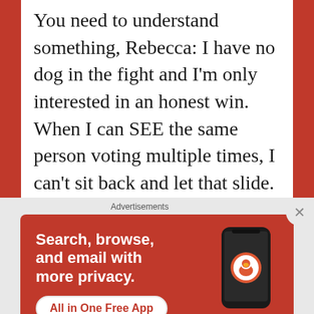You need to understand something, Rebecca: I have no dog in the fight and I'm only interested in an honest win. When I can SEE the same person voting multiple times, I can't sit back and let that slide. The contest has to be FAIR. Put yourself in Dos Santos' shoes, and then imagine some other author having a crazed fan boy come along and vote 20 times for that author, essentially bumping Dos Santos from the chance of winning. How do you think Dos
[Figure (infographic): DuckDuckGo advertisement banner. Orange/red background. Text: 'Search, browse, and email with more privacy. All in One Free App'. Shows a smartphone with the DuckDuckGo logo and brand name.]